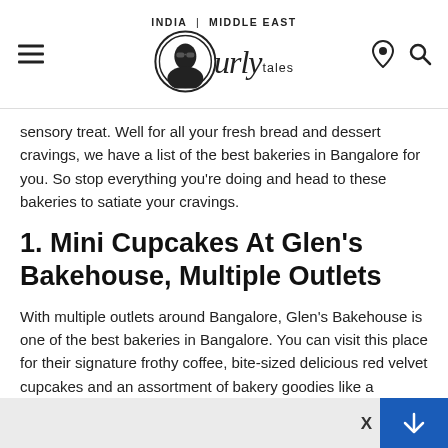INDIA | MIDDLE EAST — Curly Tales
sensory treat. Well for all your fresh bread and dessert cravings, we have a list of the best bakeries in Bangalore for you. So stop everything you're doing and head to these bakeries to satiate your cravings.
1. Mini Cupcakes At Glen's Bakehouse, Multiple Outlets
With multiple outlets around Bangalore, Glen's Bakehouse is one of the best bakeries in Bangalore. You can visit this place for their signature frothy coffee, bite-sized delicious red velvet cupcakes and an assortment of bakery goodies like a chocolate croissant, eclair, puffs and everything sweet, creamy and sugary.